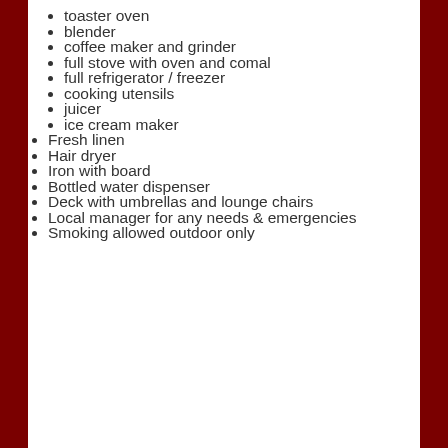toaster oven
blender
coffee maker and grinder
full stove with oven and comal
full refrigerator / freezer
cooking utensils
juicer
ice cream maker
Fresh linen
Hair dryer
Iron with board
Bottled water dispenser
Deck with umbrellas and lounge chairs
Local manager for any needs & emergencies
Smoking allowed outdoor only